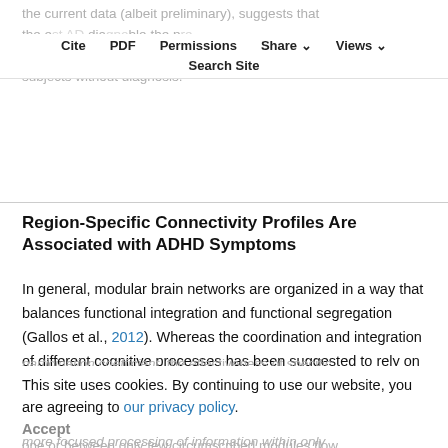the current data (albeit preliminary), suggests that the e... AD... dia... ble the p... sample did not differ in terms of global modularity from subjects without diagnosis.
Cite  PDF  Permissions  Share  Views  Search Site
Region-Specific Connectivity Profiles Are Associated with ADHD Symptoms
In general, modular brain networks are organized in a way that balances functional integration and functional segregation (Gallos et al., 2012). Whereas the coordination and integration of different cognitive processes has been suggested to rely on exchange of information between different modules (high
participation coefficient), the effectiveness of specific cognitive functions may be supported by less diverse, more focused processing of information within only one or between only few circumscribed modules flow
This site uses cookies. By continuing to use our website, you are agreeing to our privacy policy. Accept